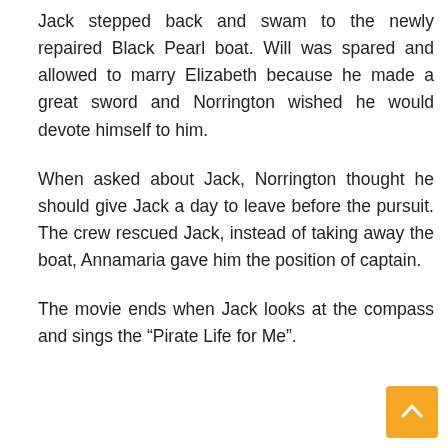Jack stepped back and swam to the newly repaired Black Pearl boat. Will was spared and allowed to marry Elizabeth because he made a great sword and Norrington wished he would devote himself to him.
When asked about Jack, Norrington thought he should give Jack a day to leave before the pursuit. The crew rescued Jack, instead of taking away the boat, Annamaria gave him the position of captain.
The movie ends when Jack looks at the compass and sings the “Pirate Life for Me”.